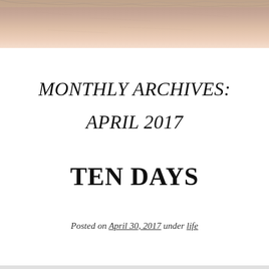[Figure (photo): Close-up photo of a person's forehead and upper face, showing skin texture, cropped at the top of the page.]
MONTHLY ARCHIVES:
APRIL 2017
TEN DAYS
Posted on April 30, 2017 under life